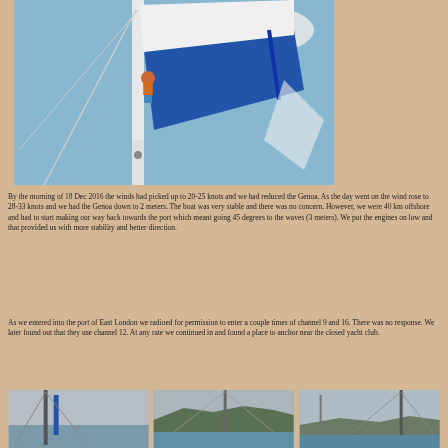[Figure (photo): Person climbing up a sailboat mast, handling a blue sail cover against a blue sky background]
By the morning of 18 Dec 2016 the winds had picked up to 20-25 knots and we had reduced the Genoa. As the day went on the wind rose to 28-33 knots and we had the Genoa down to 2 meters. The boat was very stable and there was no concern. However, we were 40 km offshore and had to start making our way back towards the port which meant going 45 degrees to the waves (3 meters). We put the engines on low and that provided us with more stability and better direction.
As we entered into the port of East London we radioed for permission to enter a couple times of channel 9 and 16. There was no response. We later found out that they use channel 12. At any rate we continued in and found a place to anchor near the closed yacht club.
[Figure (photo): Sailboat mast and rigging against a grey sky]
[Figure (photo): Coastal landscape with hills and water]
[Figure (photo): Sailboat mast and rigging, harbour in background]